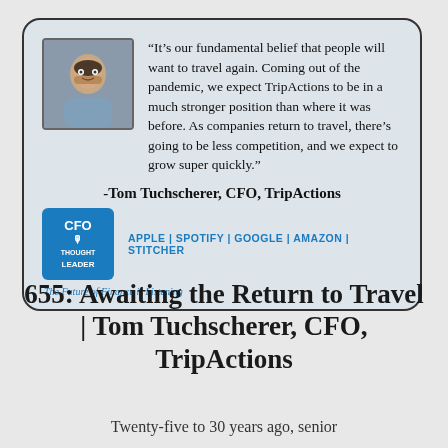[Figure (infographic): Podcast episode card with headshot of Tom Tuchscherer, a quote, CFO Thought Leader logo, and podcast platform links]
“It’s our fundamental belief that people will want to travel again. Coming out of the pandemic, we expect TripActions to be in a much stronger position than where it was before. As companies return to travel, there’s going to be less competition, and we expect to grow super quickly.”
-Tom Tuchscherer, CFO, TripActions
APPLE | SPOTIFY | GOOGLE | AMAZON | STITCHER
The Future of Finance is Listening
655: Awaiting the Return to Travel | Tom Tuchscherer, CFO, TripActions
Twenty-five to 30 years ago, senior